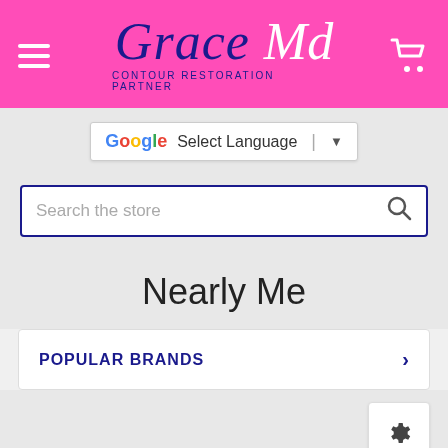[Figure (screenshot): Grace Md website header with pink background, hamburger menu, Grace Md logo, and shopping cart icon]
[Figure (screenshot): Google Translate Select Language dropdown button]
[Figure (screenshot): Search the store input box with magnifier icon]
Nearly Me
POPULAR BRANDS
[Figure (screenshot): Settings gear icon button]
[Figure (logo): Nearly Me brand logo in pink cursive script with registered trademark symbol]